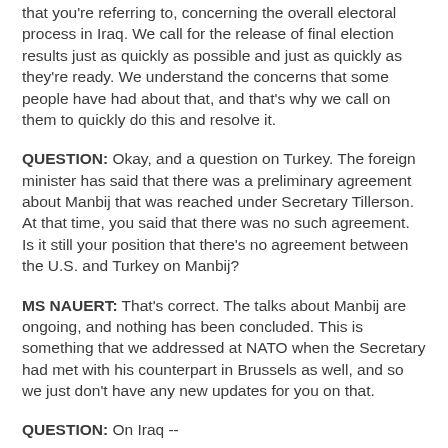that you're referring to, concerning the overall electoral process in Iraq. We call for the release of final election results just as quickly as possible and just as quickly as they're ready. We understand the concerns that some people have had about that, and that's why we call on them to quickly do this and resolve it.
QUESTION: Okay, and a question on Turkey. The foreign minister has said that there was a preliminary agreement about Manbij that was reached under Secretary Tillerson. At that time, you said that there was no such agreement. Is it still your position that there's no agreement between the U.S. and Turkey on Manbij?
MS NAUERT: That's correct. The talks about Manbij are ongoing, and nothing has been concluded. This is something that we addressed at NATO when the Secretary had met with his counterpart in Brussels as well, and so we just don't have any new updates for you on that.
QUESTION: On Iraq --